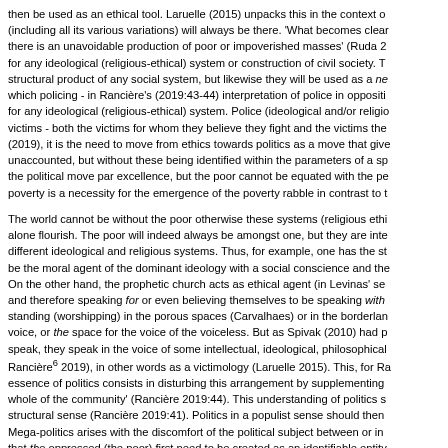then be used as an ethical tool. Laruelle (2015) unpacks this in the context of (including all its various variations) will always be there. 'What becomes clear there is an unavoidable production of poor or impoverished masses' (Ruda 2 for any ideological (religious-ethical) system or construction of civil society. T structural product of any social system, but likewise they will be used as a ne which policing - in Rancière's (2019:43-44) interpretation of police in oppositi for any ideological (religious-ethical) system. Police (ideological and/or religio victims - both the victims for whom they believe they fight and the victims the (2019), it is the need to move from ethics towards politics as a move that give unaccounted, but without these being identified within the parameters of a sp the political move par excellence, but the poor cannot be equated with the pe poverty is a necessity for the emergence of the poverty rabble in contrast to t
The world cannot be without the poor otherwise these systems (religious ethi alone flourish. The poor will indeed always be amongst one, but they are inte different ideological and religious systems. Thus, for example, one has the st be the moral agent of the dominant ideology with a social conscience and the On the other hand, the prophetic church acts as ethical agent (in Levinas' se and therefore speaking for or even believing themselves to be speaking with standing (worshipping) in the porous spaces (Carvalhaes) or in the borderlan voice, or the space for the voice of the voiceless. But as Spivak (2010) had p speak, they speak in the voice of some intellectual, ideological, philosophical Rancière⁶ 2019), in other words as a victimology (Laruelle 2015). This, for Ra essence of politics consists in disturbing this arrangement by supplementing whole of the community' (Rancière 2019:44). This understanding of politics s structural sense (Rancière 2019:41). Politics in a populist sense should then Mega-politics arises with the discomfort of the political subject between or in that the oppressed (the poor) first need to be created as an identifiable entity their cause - the cause which first needs to have been identified or rather pro intellectuals and/or philosophers: